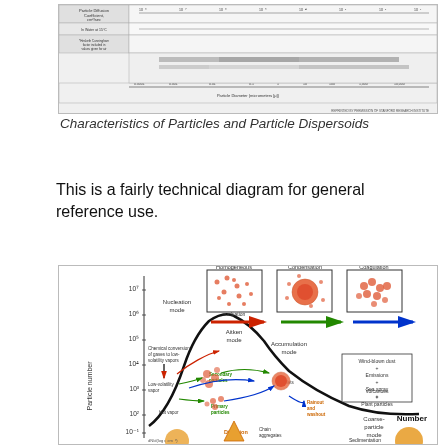[Figure (schematic): Technical diagram titled 'Characteristics of Particles and Particle Dispersoids' showing particle sizes, diffusion coefficients, and particle diameter ranges across multiple scales.]
Characteristics of Particles and Particle Dispersoids
This is a fairly technical diagram for general reference use.
[Figure (schematic): Scientific diagram showing particle modes (Nucleation mode, Aitken mode, Accumulation mode, Coarse-particle mode) with particle number on y-axis, and illustrations of Homogeneous nucleation, Condensation, and Coagulation processes. Shows processes including chemical conversion of gases to low-volatility vapors, secondary particles, primary particles, hot vapor, low-volatility vapor, diffusion, chain aggregates, droplets, rainout and washout, sedimentation, wind-blown dust, emissions, sea spray, volcanoes, plant particles. Arrows in red, green, and blue indicate particle growth processes.]